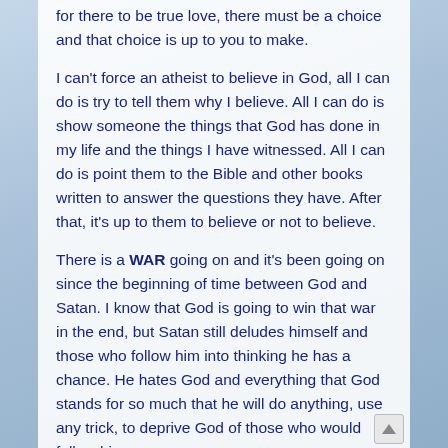for there to be true love, there must be a choice and that choice is up to you to make.
I can't force an atheist to believe in God, all I can do is try to tell them why I believe. All I can do is show someone the things that God has done in my life and the things I have witnessed. All I can do is point them to the Bible and other books written to answer the questions they have. After that, it's up to them to believe or not to believe.
There is a WAR going on and it's been going on since the beginning of time between God and Satan. I know that God is going to win that war in the end, but Satan still deludes himself and those who follow him into thinking he has a chance. He hates God and everything that God stands for so much that he will do anything, use any trick, to deprive God of those who would follow him.
As Jesus says of Satan, "He is a liar and the father of lies"
As I said, I can't make you or anyone believe in God, or follow